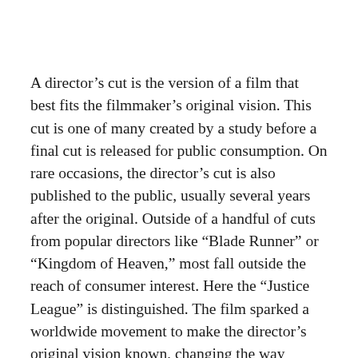A director’s cut is the version of a film that best fits the filmmaker’s original vision. This cut is one of many created by a study before a final cut is released for public consumption. On rare occasions, the director’s cut is also published to the public, usually several years after the original. Outside of a handful of cuts from popular directors like “Blade Runner” or “Kingdom of Heaven,” most fall outside the reach of consumer interest. Here the “Justice League” is distinguished. The film sparked a worldwide movement to make the director’s original vision known, changing the way audiences interact with the film.
It is the antithesis of the artistic integrity and freedom of